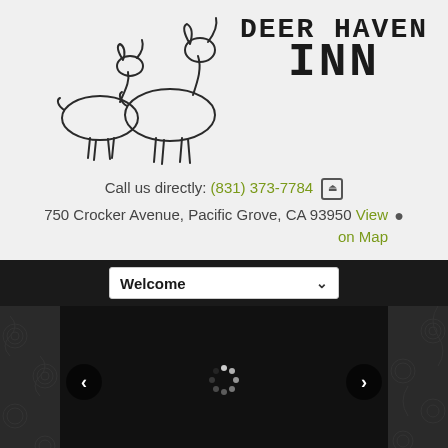[Figure (logo): Deer Haven Inn logo with line-drawing of two deer and stylized text 'DEER HAVEN INN']
Call us directly: (831) 373-7784
750 Crocker Avenue, Pacific Grove, CA 93950 View on Map
Welcome
[Figure (photo): Hotel room photo showing bed with red headboard and lamps, partially visible at bottom of page]